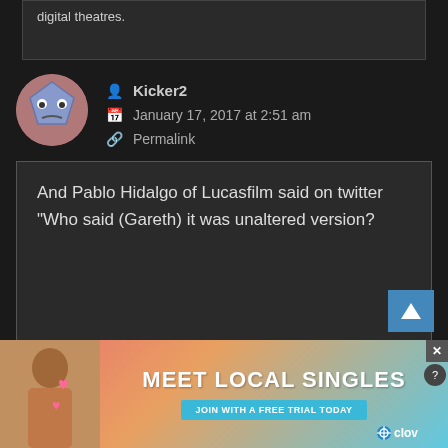digital theatres.
Kicker2
January 17, 2017 at 2:51 am
Permalink
And Pablo Hidalgo of Lucasfilm said on twitter “Who said (Gareth) it was unaltered version?
Grand_Admiral_Dux
January 16, 2017 at 9:4...
[Figure (infographic): Advertisement banner: MEET LOCAL SINGLES with JOIN WITH A FREE TRIAL TODAY button and Clover logo, featuring a photo of a woman]